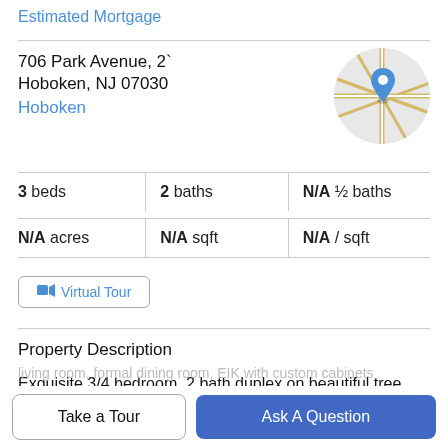Estimated Mortgage
706 Park Avenue, 2`
Hoboken, NJ 07030
Hoboken
[Figure (map): Circular map thumbnail showing street map with blue location pin marker]
3 beds | 2 baths | N/A ½ baths
N/A acres | N/A sqft | N/A / sqft
Virtual Tour
Property Description
Exquisite 3/4 bedroom, 2 bath duplex on beautiful tree lined Park Avenue. Fabulous features include lots of
Take a Tour
Ask A Question